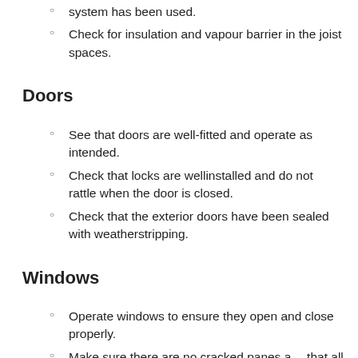system has been used.
Check for insulation and vapour barrier in the joist spaces.
Doors
See that doors are well-fitted and operate as intended.
Check that locks are wellinstalled and do not rattle when the door is closed.
Check that the exterior doors have been sealed with weatherstripping.
Windows
Operate windows to ensure they open and close properly.
Make sure there are no cracked panes and that all appropriate screens are in place.